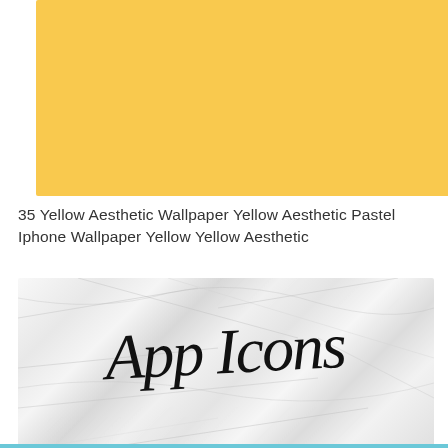[Figure (illustration): Solid pastel yellow / golden rectangle serving as a wallpaper color swatch]
35 Yellow Aesthetic Wallpaper Yellow Aesthetic Pastel Iphone Wallpaper Yellow Yellow Aesthetic
[Figure (photo): White marble texture background with 'App Icons' written in black cursive/script handwriting font]